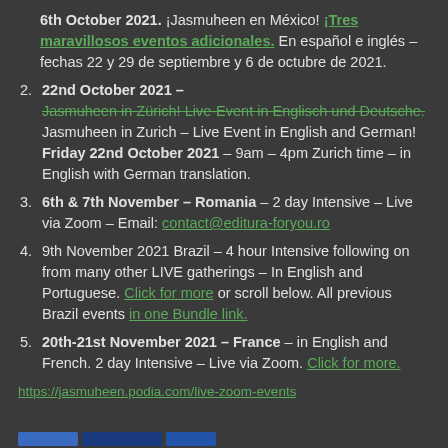6th October 2021. ¡Jasmuheen en México! ¡Tres maravillosos eventos adicionales. En español e inglés – fechas 22 y 29 de septiembre y 6 de octubre de 2021.
22nd October 2021 – Jasmuheen in Zürich! Live-Event in Englisch und Deutsche. Jasmuheen in Zurich – Live Event in English and German! Friday 22nd October 2021 – 9am – 4pm Zurich time – in English with German translation.
6th & 7th November – Romania – 2 day Intensive – Live via Zoom – Email: contact@editura-foryou.ro
9th November 2021 Brazil – 4 hour Intensive following on from many other LIVE gatherings – In English and Portuguese. Click for more or scroll below. All previous Brazil events in one Bundle link.
20th-21st November 2021 – France – in English and French. 2 day Intensive – Live via Zoom. Click for more.
https://jasmuheen.podia.com/live-zoom-events